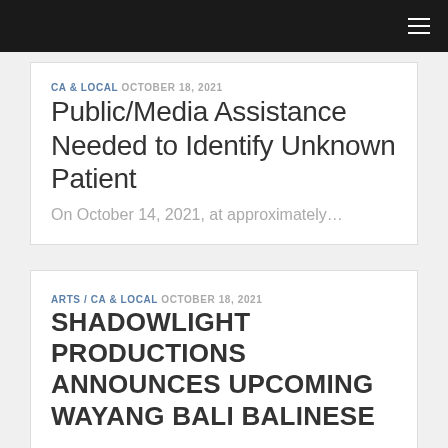CA & LOCAL  OCTOBER 18, 2021
Public/Media Assistance Needed to Identify Unknown Patient
On October 14, 2021, at approximately…
ARTS / CA & LOCAL  OCTOBER 18, 2021
SHADOWLIGHT PRODUCTIONS ANNOUNCES UPCOMING WAYANG BALI BALINESE